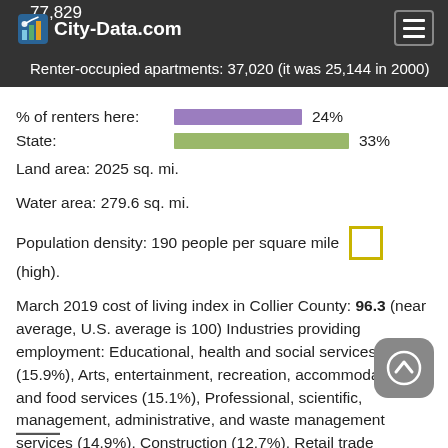77,829 City-Data.com
Renter-occupied apartments: 37,020 (it was 25,144 in 2000)
% of renters here: 24%
State: 33%
Land area: 2025 sq. mi.
Water area: 279.6 sq. mi.
Population density: 190 people per square mile (high).
March 2019 cost of living index in Collier County: 96.3 (near average, U.S. average is 100) Industries providing employment: Educational, health and social services (15.9%), Arts, entertainment, recreation, accommodation and food services (15.1%), Professional, scientific, management, administrative, and waste management services (14.9%), Construction (12.7%), Retail trade (11.9%).